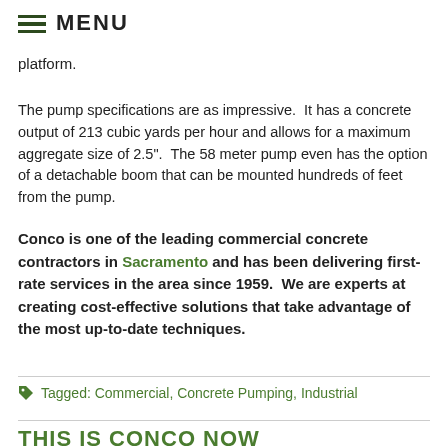≡ MENU
platform.
The pump specifications are as impressive. It has a concrete output of 213 cubic yards per hour and allows for a maximum aggregate size of 2.5". The 58 meter pump even has the option of a detachable boom that can be mounted hundreds of feet from the pump.
Conco is one of the leading commercial concrete contractors in Sacramento and has been delivering first-rate services in the area since 1959. We are experts at creating cost-effective solutions that take advantage of the most up-to-date techniques.
Tagged: Commercial, Concrete Pumping, Industrial
THIS IS CONCO NOW